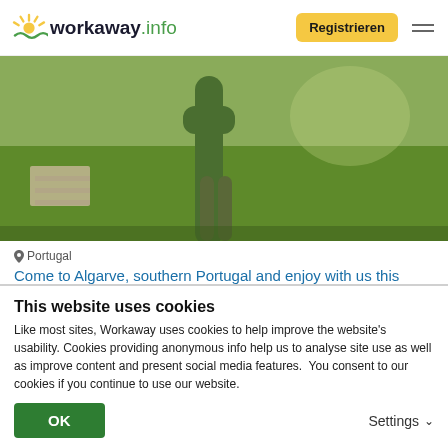workaway.info  Registrieren
[Figure (photo): Outdoor photo showing a person standing in a garden with green grass and a large cactus plant, with stone slabs on the left side]
Portugal
Come to Algarve, southern Portugal and enjoy with us this wonderful piece of land!
★★★★★ (1)
This website uses cookies
Like most sites, Workaway uses cookies to help improve the website's usability. Cookies providing anonymous info help us to analyse site use as well as improve content and present social media features.  You consent to our cookies if you continue to use our website.
OK  Settings